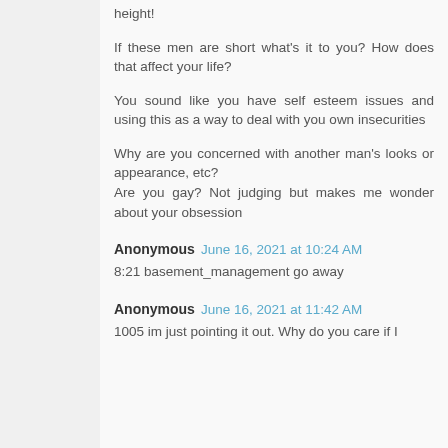height!
If these men are short what's it to you? How does that affect your life?
You sound like you have self esteem issues and using this as a way to deal with you own insecurities
Why are you concerned with another man's looks or appearance, etc?
Are you gay? Not judging but makes me wonder about your obsession
Anonymous  June 16, 2021 at 10:24 AM
8:21 basement_management go away
Anonymous  June 16, 2021 at 11:42 AM
1005 im just pointing it out. Why do you care if I